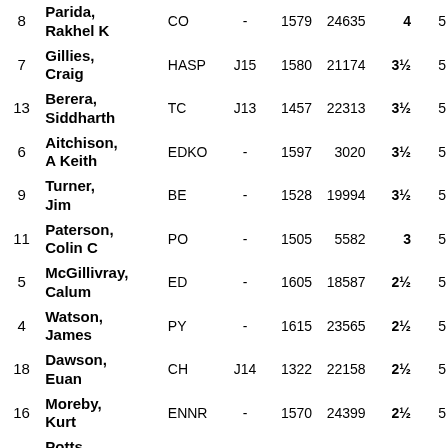| Rank | Name | Club | Grade | Rating | Games | Score |  |
| --- | --- | --- | --- | --- | --- | --- | --- |
| 8 | Parida, Rakhel K | CO | - | 1579 | 24635 | 4 | 5 |
| 7 | Gillies, Craig | HASP | J15 | 1580 | 21174 | 3½ | 5 |
| 13 | Berera, Siddharth | TC | J13 | 1457 | 22313 | 3½ | 5 |
| 6 | Aitchison, A Keith | EDKO | - | 1597 | 3020 | 3½ | 5 |
| 9 | Turner, Jim | BE | - | 1528 | 19994 | 3½ | 5 |
| 11 | Paterson, Colin C | PO | - | 1505 | 5582 | 3 | 5 |
| 5 | McGillivray, Calum | ED | - | 1605 | 18587 | 2½ | 5 |
| 4 | Watson, James | PY | - | 1615 | 23565 | 2½ | 5 |
| 18 | Dawson, Euan | CH | J14 | 1322 | 22158 | 2½ | 5 |
| 16 | Moreby, Kurt | ENNR | - | 1570 | 24399 | 2½ | 5 |
| 3 | Potts, David A | BHGD | - | 1618 | 5670 | 2½ | 5 |
| 17 | Connolly Sams, | TCED | J13 | 1345 | 23569 | 2½ | 5 |